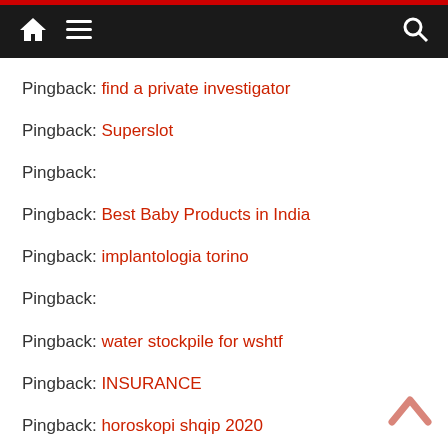Navigation bar with home, menu, and search icons
Pingback: find a private investigator
Pingback: Superslot
Pingback:
Pingback: Best Baby Products in India
Pingback: implantologia torino
Pingback:
Pingback: water stockpile for wshtf
Pingback: INSURANCE
Pingback: horoskopi shqip 2020
Pingback: delta 8 THC for sale